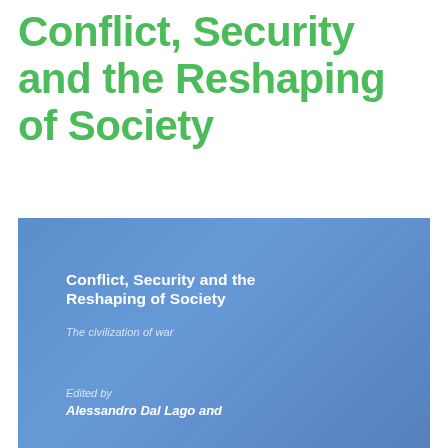Conflict, Security and the Reshaping of Society
[Figure (illustration): Book cover for 'Conflict, Security and the Reshaping of Society: The civilization of war', edited by Alessandro Dal Lago and others. Blue background with white text showing title, subtitle, and editors.]